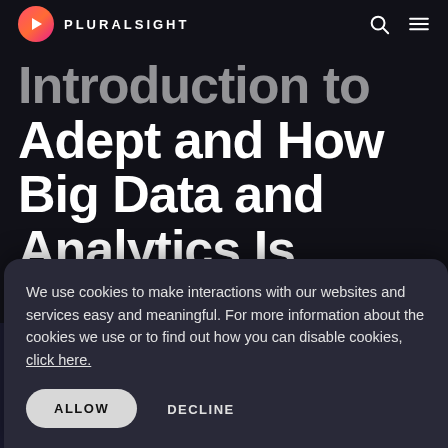PLURALSIGHT
Introduction to Adept and How Big Data and Analytics Is Transforming the Connected Car
We use cookies to make interactions with our websites and services easy and meaningful. For more information about the cookies we use or to find out how you can disable cookies, click here.
ALLOW
DECLINE